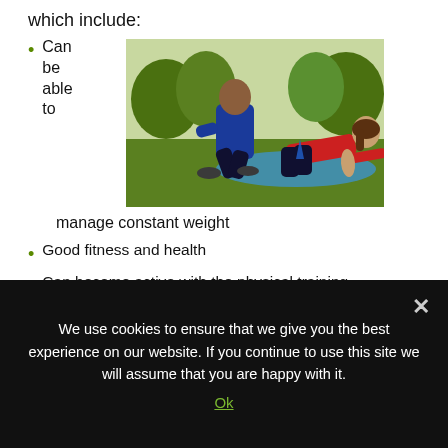which include:
Can be able to manage constant weight
[Figure (photo): A personal trainer in a blue tracksuit crouching beside a woman in a red top doing a plank exercise on a blue mat on grass outdoors.]
Good fitness and health
Can become active with the physical training
Can be able to follow balanced diet
Can be able to reduce the risk of dreadful diseases
We use cookies to ensure that we give you the best experience on our website. If you continue to use this site we will assume that you are happy with it.
Ok